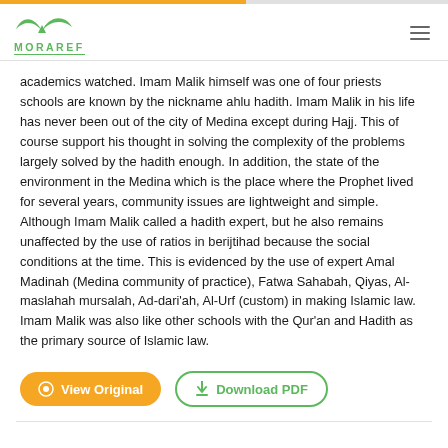MORAREF
academics watched. Imam Malik himself was one of four priests schools are known by the nickname ahlu hadith. Imam Malik in his life has never been out of the city of Medina except during Hajj. This of course support his thought in solving the complexity of the problems largely solved by the hadith enough. In addition, the state of the environment in the Medina which is the place where the Prophet lived for several years, community issues are lightweight and simple. Although Imam Malik called a hadith expert, but he also remains unaffected by the use of ratios in berijtihad because the social conditions at the time. This is evidenced by the use of expert Amal Madinah (Medina community of practice), Fatwa Sahabah, Qiyas, Al-maslahah mursalah, Ad-dari'ah, Al-Urf (custom) in making Islamic law. Imam Malik was also like other schools with the Qur'an and Hadith as the primary source of Islamic law.
[Figure (other): View Original button (orange rounded) and Download PDF button (green outline rounded)]